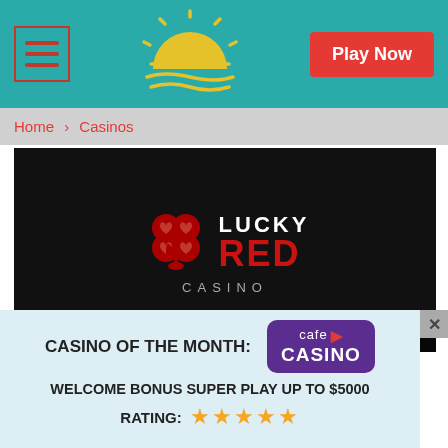Play Now
Home > Casinos
[Figure (screenshot): Lucky Red Casino banner showing logo with red clover, text 'LUCKY RED CASINO' and '400% Slots Bonus up to' on black background]
CASINO OF THE MONTH:
[Figure (logo): Cafe Casino logo badge in purple with card suit icon]
WELCOME BONUS SUPER PLAY UP TO $5000
RATING: ★★★★★